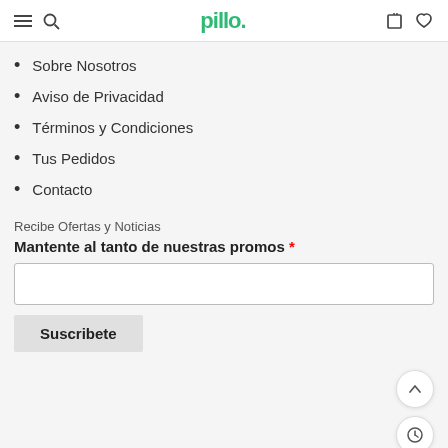Pillo navigation header with hamburger menu, search, logo, cart, and heart icons
Sobre Nosotros
Aviso de Privacidad
Términos y Condiciones
Tus Pedidos
Contacto
Recibe Ofertas y Noticias
Mantente al tanto de nuestras promos *
Suscribete